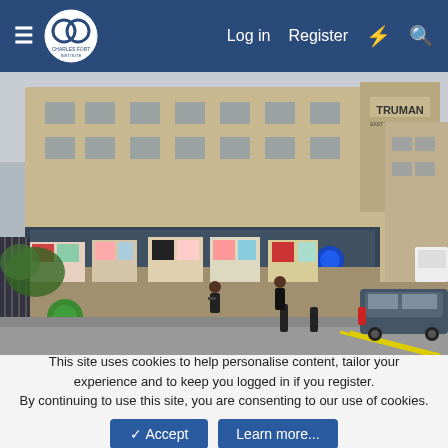Charles Fort Institute – Log in | Register
[Figure (photo): Street scene showing the Truman brewery building in London with graffiti-covered walls, street art panels, pedestrians, a car, and bollards on the road.]
This site uses cookies to help personalise content, tailor your experience and to keep you logged in if you register.
By continuing to use this site, you are consenting to our use of cookies.
✓ Accept  Learn more...